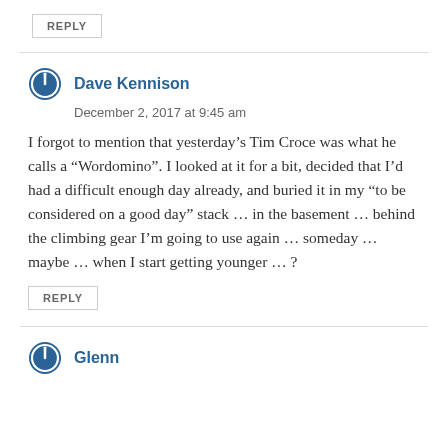REPLY
Dave Kennison
December 2, 2017 at 9:45 am
I forgot to mention that yesterday’s Tim Croce was what he calls a “Wordomino”. I looked at it for a bit, decided that I’d had a difficult enough day already, and buried it in my “to be considered on a good day” stack … in the basement … behind the climbing gear I’m going to use again … someday … maybe … when I start getting younger … ?
REPLY
Glenn